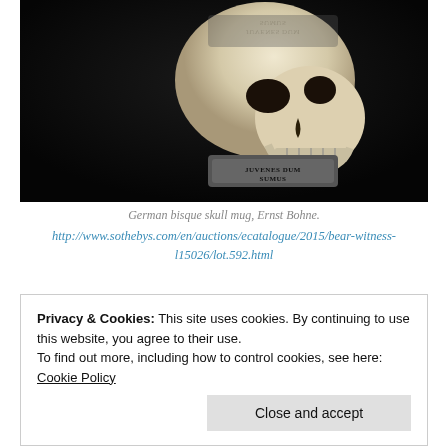[Figure (photo): Photograph of a German bisque skull mug by Ernst Bohne, showing a realistic skull resting on a rectangular base engraved with 'JUVENES DUM SUMUS', with reflection visible below, on a black background.]
German bisque skull mug, Ernst Bohne.
http://www.sothebys.com/en/auctions/ecatalogue/2015/bear-witness-l15026/lot.592.html
Privacy & Cookies: This site uses cookies. By continuing to use this website, you agree to their use.
To find out more, including how to control cookies, see here: Cookie Policy
Close and accept